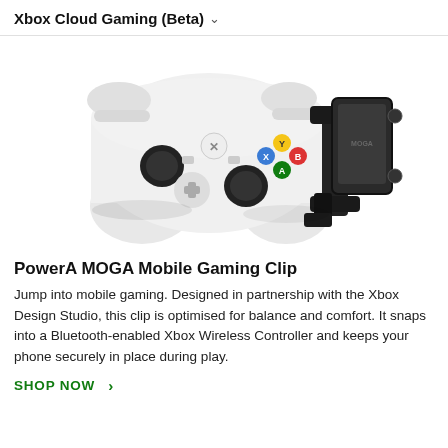Xbox Cloud Gaming (Beta) ∨
[Figure (photo): White Xbox Wireless Controller with a black PowerA MOGA Mobile Gaming Clip attached to its right side, holding a smartphone mount.]
PowerA MOGA Mobile Gaming Clip
Jump into mobile gaming. Designed in partnership with the Xbox Design Studio, this clip is optimised for balance and comfort. It snaps into a Bluetooth-enabled Xbox Wireless Controller and keeps your phone securely in place during play.
SHOP NOW >